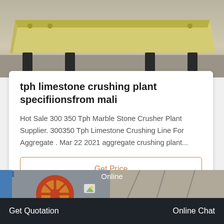[Figure (photo): Industrial limestone crushing machine — yellow/cream colored heavy equipment on a concrete floor, viewed from front-side angle]
tph limestone crushing plant specifiionsfrom mali
Hot Sale 300 350 Tph Marble Stone Crusher Plant Supplier. 300350 Tph Limestone Crushing Line For Aggregate . Mar 22 2021 aggregate crushing plant...
Get Price
[Figure (photo): Industrial crusher plant interior showing large red/gold flywheel, blue signage on left, warehouse structure on right]
Online
Get Quotation
Online Chat